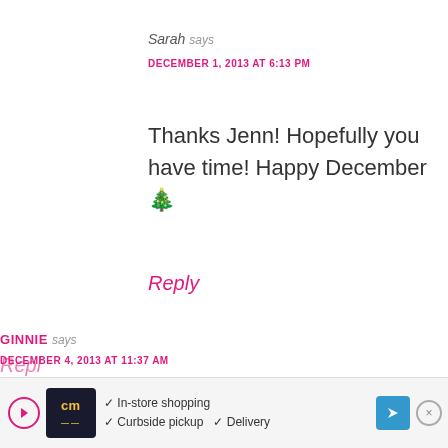Sarah says
DECEMBER 1, 2013 AT 6:13 PM
Thanks Jenn! Hopefully you have time! Happy December 🎄
Reply
GINNIE says
DECEMBER 4, 2013 AT 11:37 AM
This is such a cute idea! Definitely filing this one away to try;)
Reply